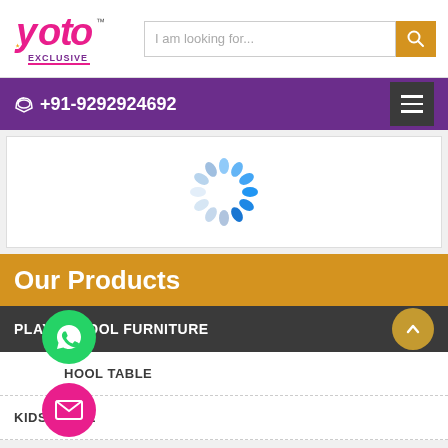[Figure (logo): Yoto Exclusive logo with pink cursive text and yellow/pink accents]
I am looking for...
+91-9292924692
[Figure (other): Loading spinner animation (blue dots in circular pattern)]
Our Products
PLAY SCHOOL FURNITURE
SCHOOL TABLE
KIDS TABLE